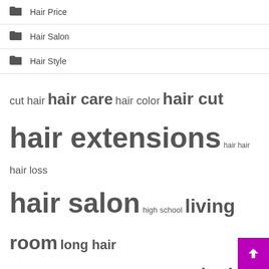Hair Price
Hair Salon
Hair Style
[Figure (other): Tag cloud with words: cut hair, hair care, hair color, hair cut, hair extensions, hair hair, hair loss, hair salon, high school, living room, long hair, lot people, natural hair, style hair, united states]
Recent Posts
Loans to California officials